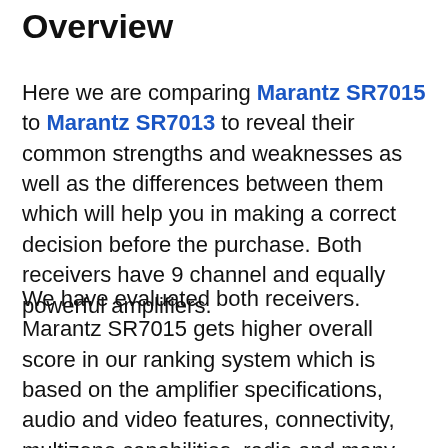Overview
Here we are comparing Marantz SR7015 to Marantz SR7013 to reveal their common strengths and weaknesses as well as the differences between them which will help you in making a correct decision before the purchase. Both receivers have 9 channel and equally powerful amplifiers.
We have evaluated both receivers. Marantz SR7015 gets higher overall score in our ranking system which is based on the amplifier specifications, audio and video features, connectivity, multizone capabilities, radio and many other details.